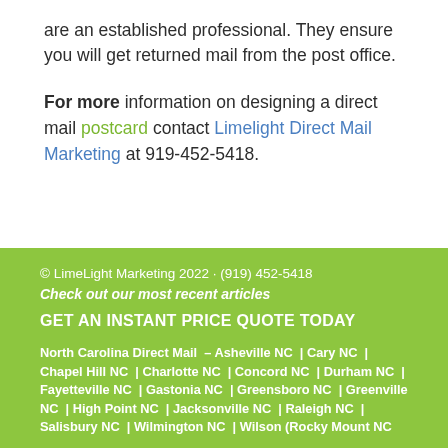are an established professional. They ensure you will get returned mail from the post office.
For more information on designing a direct mail postcard contact Limelight Direct Mail Marketing at 919-452-5418.
© LimeLight Marketing 2022 · (919) 452-5418
Check out our most recent articles
GET AN INSTANT PRICE QUOTE TODAY
North Carolina Direct Mail – Asheville NC | Cary NC | Chapel Hill NC | Charlotte NC | Concord NC | Durham NC | Fayetteville NC | Gastonia NC | Greensboro NC | Greenville NC | High Point NC | Jacksonville NC | Raleigh NC | Salisbury NC | Wilmington NC | Wilson (Rocky Mount NC